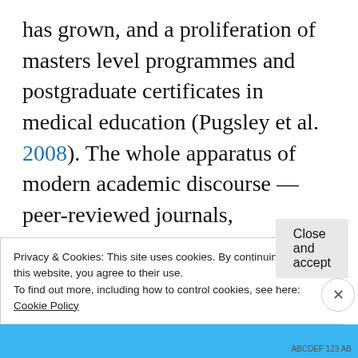has grown, and a proliferation of masters level programmes and postgraduate certificates in medical education (Pugsley et al. 2008). The whole apparatus of modern academic discourse — peer-reviewed journals, associations, national and international conferences and other scholarly paraphernalia — has grown up around the subject. The subtitle of Peterson's article cited above — Tomorrow's doctors need informed educators not amateur tutors — gives a flavour of this new emphasis on
Privacy & Cookies: This site uses cookies. By continuing to use this website, you agree to their use. To find out more, including how to control cookies, see here: Cookie Policy
Close and accept